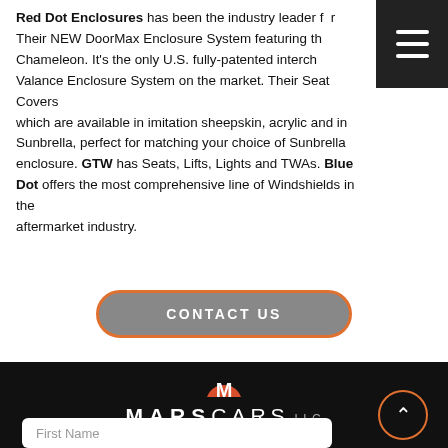Red Dot Enclosures has been the industry leader f[or years]. Their NEW DoorMax Enclosure System featuring the Chameleon. It's the only U.S. fully-patented interch[angeable] Valance Enclosure System on the market. Their Seat Covers which are available in imitation sheepskin, acrylic and in Sunbrella, perfect for matching your choice of Sunbrella enclosure. GTW has Seats, Lifts, Lights and TWAs. Blue Dot offers the most comprehensive line of Windshields in the aftermarket industry.
[Figure (other): CONTACT US button with orange border and grey background]
[Figure (logo): Mars Cars LLC logo — red/orange half-circle M icon above white MARSCARS LLC text on black background]
Get a Quote - Contact Us Now!
- CUSTOMIZE TO MAKE IT YOURS -
Fill in your details and we will get back to you ASAP!
PHONE: (714) 847-7673
First Name